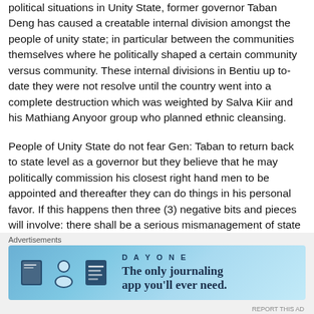political situations in Unity State, former governor Taban Deng has caused a creatable internal division amongst the people of unity state; in particular between the communities themselves where he politically shaped a certain community versus community. These internal divisions in Bentiu up to-date they were not resolve until the country went into a complete destruction which was weighted by Salva Kiir and his Mathiang Anyoor group who planned ethnic cleansing.
People of Unity State do not fear Gen: Taban to return back to state level as a governor but they believe that he may politically commission his closest right hand men to be appointed and thereafter they can do things in his personal favor. If this happens then three (3) negative bits and pieces will involve: there shall be a serious mismanagement of state...
[Figure (other): Advertisement banner for Day One journaling app with text 'The only journaling app you'll ever need.' and app icons.]